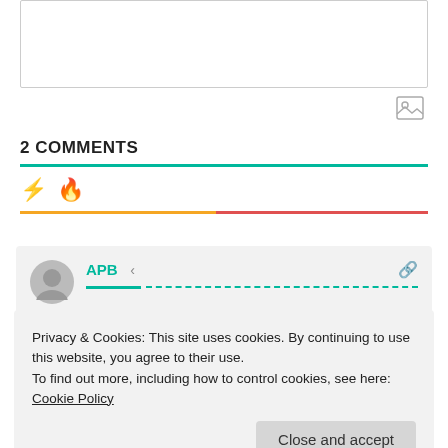[Figure (screenshot): Text input box (empty, with border)]
[Figure (screenshot): Image/media icon button]
2 COMMENTS
[Figure (infographic): Sort icons: lightning bolt (yellow) and fire (red) with colored underline bar]
[Figure (screenshot): Comment card with avatar, username APB, share icon, link icon, and teal progress bar]
Privacy & Cookies: This site uses cookies. By continuing to use this website, you agree to their use.
To find out more, including how to control cookies, see here: Cookie Policy
Close and accept